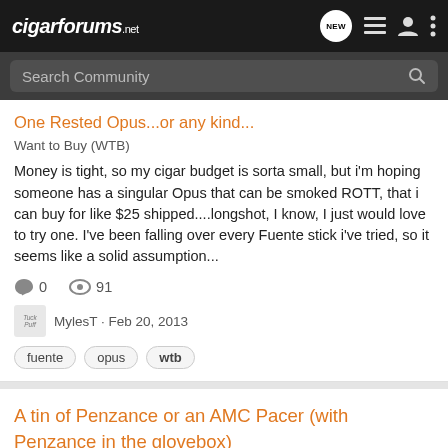cigarforums.net
Search Community
One Rested Opus...or any kind...
Want to Buy (WTB)
Money is tight, so my cigar budget is sorta small, but i'm hoping someone has a singular Opus that can be smoked ROTT, that i can buy for like $25 shipped....longshot, I know, I just would love to try one. I've been falling over every Fuente stick i've tried, so it seems like a solid assumption...
0 comments  91 views
MylesT · Feb 20, 2013
fuente
opus
wtb
A tin of Penzance or an AMC Pacer (with Penzance in the glovebox)